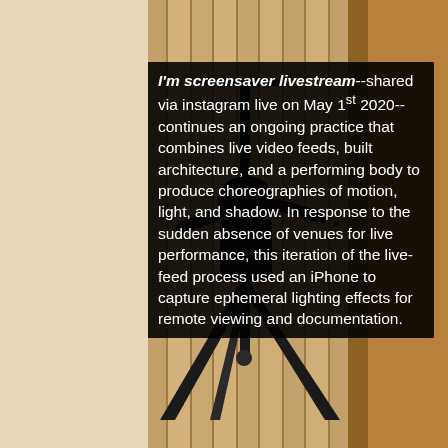[Figure (photo): A dark silhouette of a tripod or camera stand against a wood-paneled wall background. The wall has vertical wooden planks in warm beige/tan tones. On the right side is a wooden door frame. The tripod appears black and spreads its legs at the bottom of the frame.]
I'm screensaver livestream--shared via instagram live on May 1st 2020--continues an ongoing practice that combines live video feeds, built architecture, and a performing body to produce choreographies of motion, light, and shadow. In response to the sudden absence of venues for live performance, this iteration of the live-feed process used an iPhone to capture ephemeral lighting effects for remote viewing and documentation.